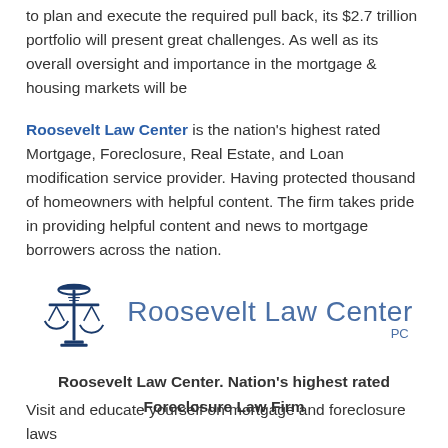to plan and execute the required pull back, its $2.7 trillion portfolio will present great challenges. As well as its overall oversight and importance in the mortgage & housing markets will be
Roosevelt Law Center is the nation's highest rated Mortgage, Foreclosure, Real Estate, and Loan modification service provider. Having protected thousand of homeowners with helpful content. The firm takes pride in providing helpful content and news to mortgage borrowers across the nation.
[Figure (logo): Roosevelt Law Center PC logo with scales of justice icon and text]
Roosevelt Law Center. Nation's highest rated Foreclosure Law Firm
Visit and educate yourself on mortgage and foreclosure laws